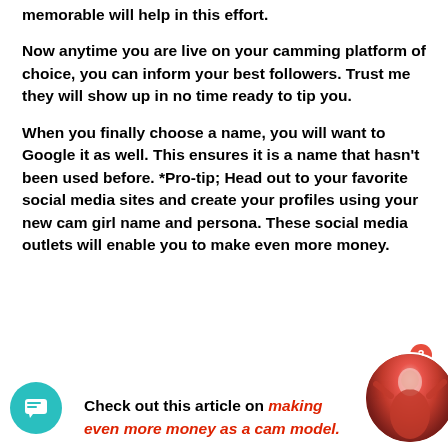memorable will help in this effort.
Now anytime you are live on your camming platform of choice, you can inform your best followers. Trust me they will show up in no time ready to tip you.
When you finally choose a name, you will want to Google it as well. This ensures it is a name that hasn't been used before. *Pro-tip; Head out to your favorite social media sites and create your profiles using your new cam girl name and persona. These social media outlets will enable you to make even more money.
Check out this article on making even more money as a cam model.
[Figure (photo): Circular photo of a woman in red costume, with a notification badge showing '2']
[Figure (illustration): Teal circular chat/message icon button at bottom left]